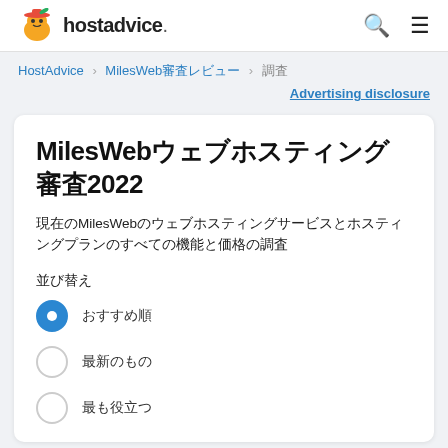hostadvice. [search icon] [menu icon]
HostAdvice > MilesWeb審査レビュー > 調査
Advertising disclosure
MilesWebウェブホスティング審査2022
現在のMilesWebのウェブホスティングサービスとホスティングプランのすべての機能と価格の調査
並び替え
おすすめ順 (selected)
最新のもの
最も役立つ